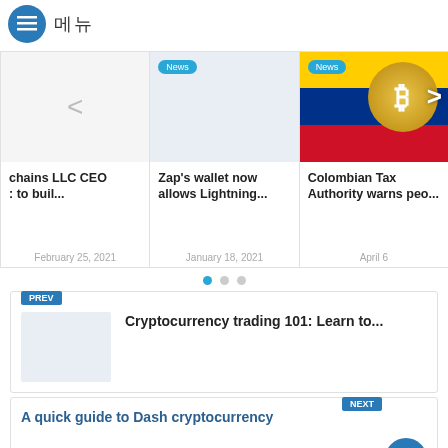메뉴
[Figure (screenshot): Carousel of three news article cards: 1) 'chains LLC CEO : to buil...' dated February 25, 2021, 2) 'Zap's wallet now allows Lightning...' with News badge dated January 18, 2021, 3) 'Colombian Tax Authority warns peo...' with News badge and Colombia flag with Bitcoin coin image, dated April (truncated)]
[Figure (other): Carousel pagination dots - three dots with first one active (blue)]
PREV
Cryptocurrency trading 101: Learn to...
NEXT
A quick guide to Dash cryptocurrency